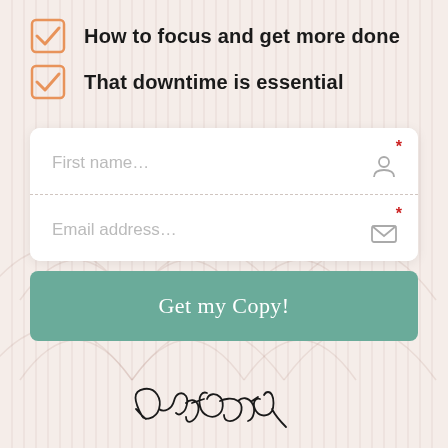How to focus and get more done
That downtime is essential
[Figure (other): Web form with First name and Email address input fields]
Get my Copy!
[Figure (illustration): Handwritten cursive signature reading 'Get around']